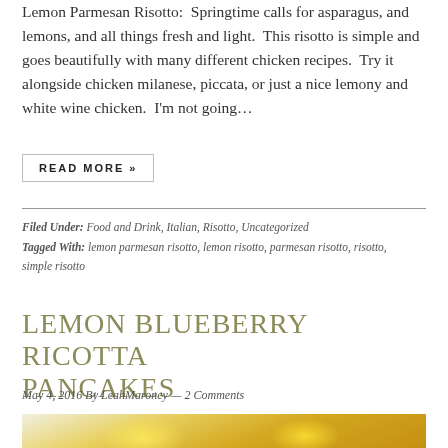Lemon Parmesan Risotto: Springtime calls for asparagus, and lemons, and all things fresh and light. This risotto is simple and goes beautifully with many different chicken recipes. Try it alongside chicken milanese, piccata, or just a nice lemony and white wine chicken. I'm not going…
READ MORE »
Filed Under: Food and Drink, Italian, Risotto, Uncategorized
Tagged With: lemon parmesan risotto, lemon risotto, parmesan risotto, risotto, simple risotto
LEMON BLUEBERRY RICOTTA PANCAKES
May 4, 2016 By LeahMaroney — 2 Comments
[Figure (photo): Photo of lemons and a wooden citrus juicer on a marble surface]